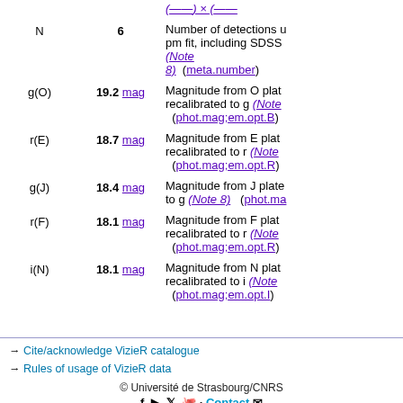| Name | Value | Description |
| --- | --- | --- |
| N | 6 | Number of detections used in the pm fit, including SDSS (Note 8) (meta.number) |
| g(O) | 19.2 mag | Magnitude from O plate, recalibrated to g (Note ...) (phot.mag;em.opt.B) |
| r(E) | 18.7 mag | Magnitude from E plate, recalibrated to r (Note ...) (phot.mag;em.opt.R) |
| g(J) | 18.4 mag | Magnitude from J plate, to g (Note 8) (phot.ma...) |
| r(F) | 18.1 mag | Magnitude from F plate, recalibrated to r (Note ...) (phot.mag;em.opt.R) |
| i(N) | 18.1 mag | Magnitude from N plate, recalibrated to i (Note ...) (phot.mag;em.opt.I) |
→ Cite/acknowledge VizieR catalogue
→ Rules of usage of VizieR data
© Université de Strasbourg/CNRS  Contact